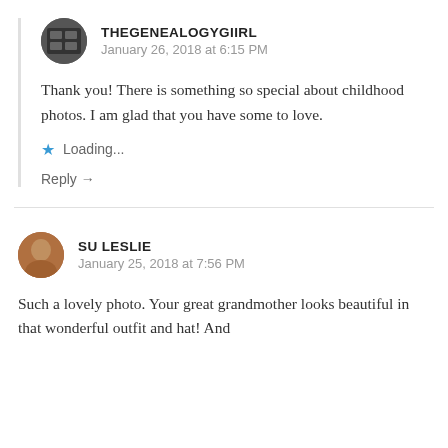THEGENEALOGYGIIRL
January 26, 2018 at 6:15 PM
Thank you! There is something so special about childhood photos. I am glad that you have some to love.
Loading...
Reply →
SU LESLIE
January 25, 2018 at 7:56 PM
Such a lovely photo. Your great grandmother looks beautiful in that wonderful outfit and hat! And